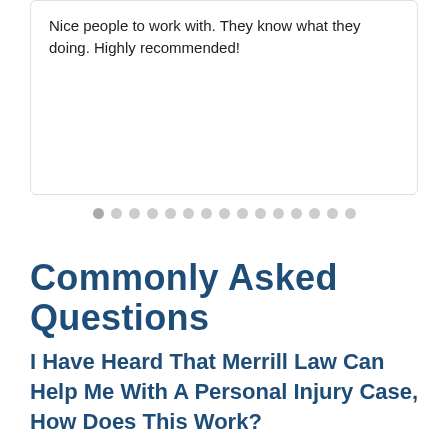Nice people to work with. They know what they doing. Highly recommended!
[Figure (other): Carousel pagination dots, 15 dots with the first one slightly darker indicating active state]
Commonly Asked Questions
I Have Heard That Merrill Law Can Help Me With A Personal Injury Case, How Does This Work?
When you call the office, one of our legal team members will assist you with the process of hiring Merrill Law for representation for your injury case.